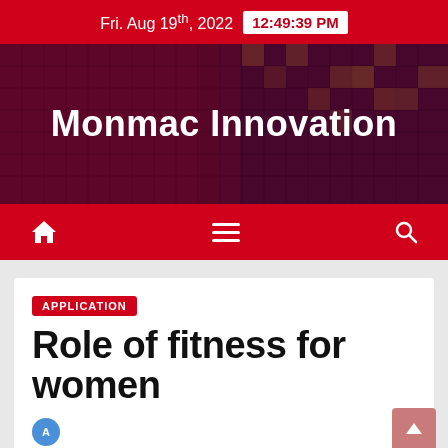Fri. Aug 19th, 2022  12:49:39 PM
[Figure (illustration): Monmac Innovation website hero banner with dark red/purple mosaic tile background and white bold text reading 'Monmac Innovation']
Monmac Innovation
APPLICATION
Role of fitness for women